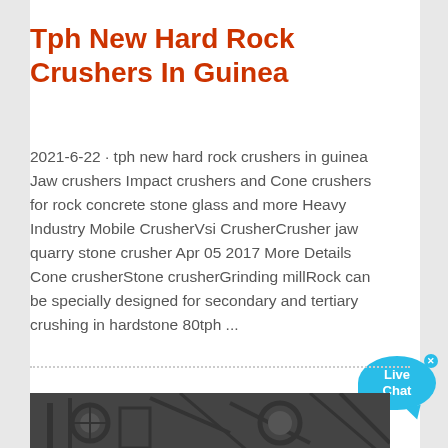Tph New Hard Rock Crushers In Guinea
2021-6-22 · tph new hard rock crushers in guinea Jaw crushers Impact crushers and Cone crushers for rock concrete stone glass and more Heavy Industry Mobile CrusherVsi CrusherCrusher jaw quarry stone crusher Apr 05 2017 More Details Cone crusherStone crusherGrinding millRock can be specially designed for secondary and tertiary crushing in hardstone 80tph ...
[Figure (photo): Photograph of industrial rock crushing machinery, partially visible at bottom of page]